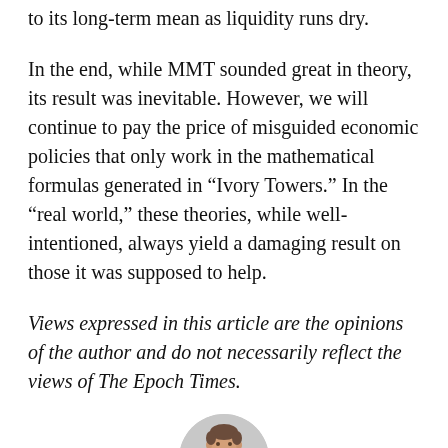to its long-term mean as liquidity runs dry.
In the end, while MMT sounded great in theory, its result was inevitable. However, we will continue to pay the price of misguided economic policies that only work in the mathematical formulas generated in “Ivory Towers.” In the “real world,” these theories, while well-intentioned, always yield a damaging result on those it was supposed to help.
Views expressed in this article are the opinions of the author and do not necessarily reflect the views of The Epoch Times.
[Figure (photo): Circular headshot portrait of a middle-aged man with a blue shirt, smiling, against a light grey background.]